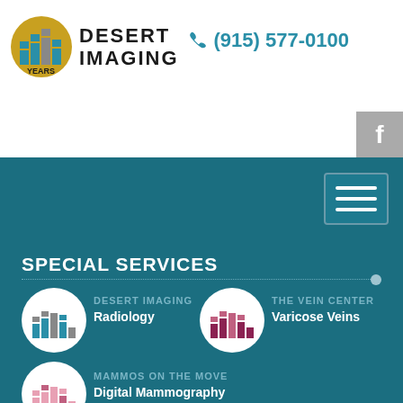[Figure (logo): Desert Imaging 20 years logo with teal and gold building icon]
DESERT IMAGING
(915) 577-0100
[Figure (screenshot): Facebook button (gray square with F)]
[Figure (other): Hamburger menu button (three horizontal lines)]
SPECIAL SERVICES
[Figure (logo): Desert Imaging radiology icon in white circle (teal/gray grid building)]
DESERT IMAGING
Radiology
[Figure (logo): The Vein Center icon in white circle (pink/maroon grid building)]
THE VEIN CENTER
Varicose Veins
[Figure (logo): Mammos on the Move icon in white circle (pink grid building)]
MAMMOS ON THE MOVE
Digital Mammography
LOCATIONS
EL PASO WEST: 122 West Castellano